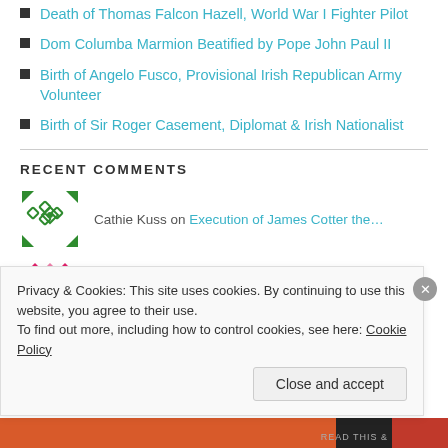Death of Thomas Falcon Hazell, World War I Fighter Pilot
Dom Columba Marmion Beatified by Pope John Paul II
Birth of Angelo Fusco, Provisional Irish Republican Army Volunteer
Birth of Sir Roger Casement, Diplomat & Irish Nationalist
RECENT COMMENTS
Cathie Kuss on Execution of James Cotter the...
James J. Cotter on Execution of James Cotter the...
Privacy & Cookies: This site uses cookies. By continuing to use this website, you agree to their use.
To find out more, including how to control cookies, see here: Cookie Policy